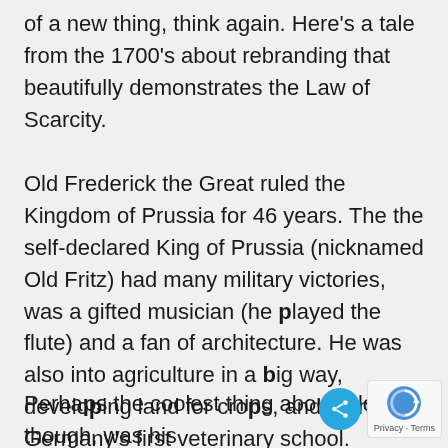of a new thing, think again. Here's a tale from the 1700's about rebranding that beautifully demonstrates the Law of Scarcity.
Old Frederick the Great ruled the Kingdom of Prussia for 46 years. The the self-declared King of Prussia (nicknamed Old Fritz) had many military victories, was a gifted musician (he played the flute) and a fan of architecture. He was also into agriculture in a big way, developing land for crops, and founded Germany's first veterinary school.
Perhaps the coolest thing about Old Fritz though, was his